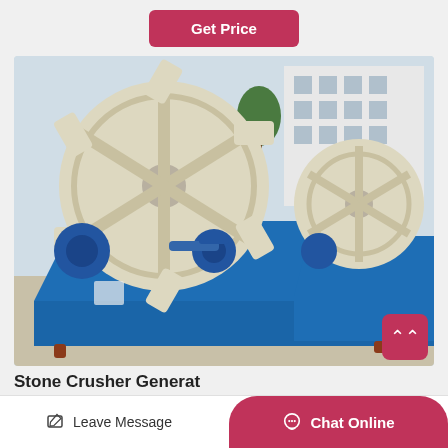[Figure (other): Get Price button - pink/red rounded button at top center of page]
[Figure (photo): Industrial sand washing machine with large circular wheel-type scrubbers mounted on blue metal basin/tank frames, photographed outdoors at a factory or industrial yard. Two wheel assemblies visible, cream/beige colored wheels with spoke-like structures, blue rectangular base tanks, industrial building in background.]
Stone Crusher Generat...
Leave Message
Chat Online